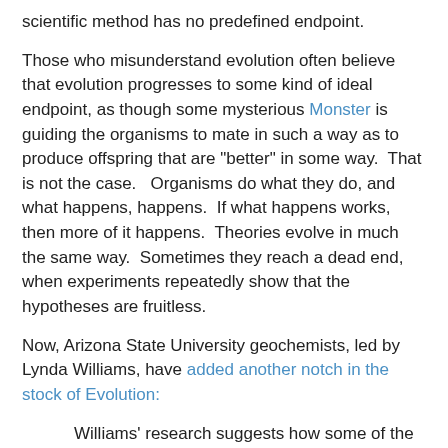scientific method has no predefined endpoint.
Those who misunderstand evolution often believe that evolution progresses to some kind of ideal endpoint, as though some mysterious Monster is guiding the organisms to mate in such a way as to produce offspring that are "better" in some way.  That is not the case.   Organisms do what they do, and what happens, happens.  If what happens works, then more of it happens.  Theories evolve in much the same way.  Sometimes they reach a dead end, when experiments repeatedly show that the hypotheses are fruitless.
Now, Arizona State University geochemists, led by Lynda Williams, have added another notch in the stock of Evolution:
Williams' research suggests how some of the fundamental materials necessary for life might have come into existence deep in the sea. The results of Williams' experiments were published in the article, "Organic Molecules Formed in a Primordial Womb," in the November issue of Geology.